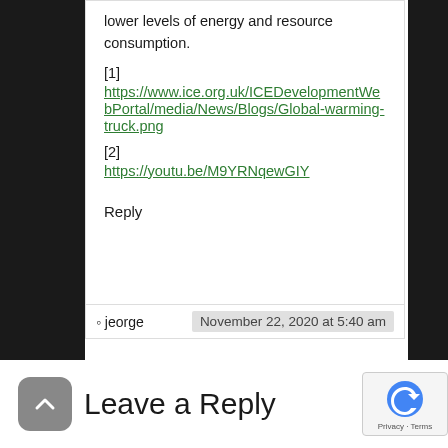lower levels of energy and resource consumption.
[1]
https://www.ice.org.uk/ICEDevelopmentWebPortal/media/News/Blogs/Global-warming-truck.png
[2]
https://youtu.be/M9YRNqewGIY
Reply
jeorge
November 22, 2020 at 5:40 am
Leave a Reply